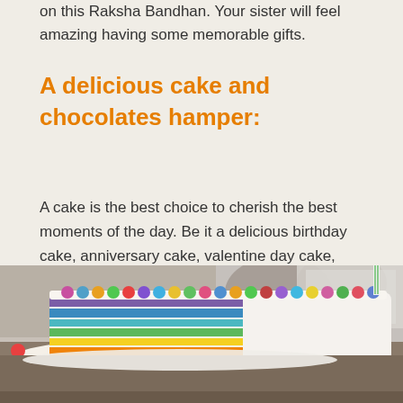on this Raksha Bandhan. Your sister will feel amazing having some memorable gifts.
A delicious cake and chocolates hamper:
A cake is the best choice to cherish the best moments of the day. Be it a delicious birthday cake, anniversary cake, valentine day cake, raksha bandhan cake it will always going to make your mood delighted.
[Figure (photo): A colorful rainbow layer cake with white frosting and M&M candy decorations on top, with a slice cut out revealing vibrant rainbow-colored layers including purple, blue, green, yellow, orange. A striped candle is inserted in the top. The cake is photographed close-up on a table with a blurred background.]